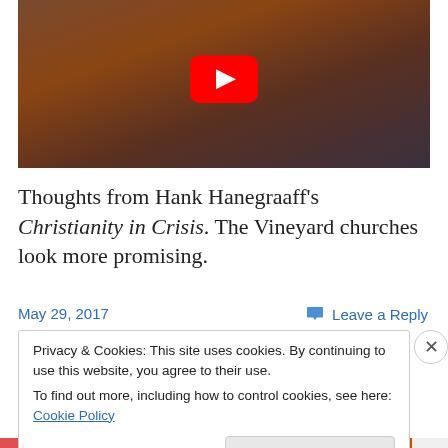[Figure (screenshot): Video thumbnail showing a person in a red/orange sweater holding an open book, with a YouTube play button overlay in the center top area.]
Thoughts from Hank Hanegraaff's Christianity in Crisis. The Vineyard churches look more promising.
May 29, 2017
Leave a Reply
Privacy & Cookies: This site uses cookies. By continuing to use this website, you agree to their use.
To find out more, including how to control cookies, see here: Cookie Policy
Close and accept